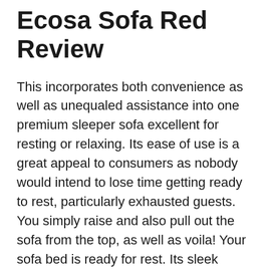Ecosa Sofa Red Review
This incorporates both convenience as well as unequaled assistance into one premium sleeper sofa excellent for resting or relaxing. Its ease of use is a great appeal to consumers as nobody would intend to lose time getting ready to rest, particularly exhausted guests. You simply raise and also pull out the sofa from the top, as well as voila! Your sofa bed is ready for rest. Its sleek layout is also an included benefit in the marketplace. This sofa is simple to assemble and also is made from recycled plastics, so not only are you doing on your own a favour, yet you're additionally helping the world.